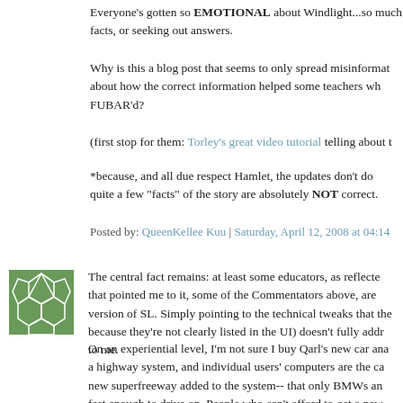Everyone's gotten so EMOTIONAL about Windlight...so much facts, or seeking out answers.
Why is this a blog post that seems to only spread misinformat about how the correct information helped some teachers wh FUBAR'd?
(first stop for them: Torley's great video tutorial telling about t
*because, and all due respect Hamlet, the updates don't do quite a few "facts" of the story are absolutely NOT correct.
Posted by: QueenKellee Kuu | Saturday, April 12, 2008 at 04:14
[Figure (illustration): Green soccer ball / geometric pattern avatar icon]
The central fact remains: at least some educators, as reflecte that pointed me to it, some of the Commentators above, are version of SL. Simply pointing to the technical tweaks that the because they're not clearly listed in the UI) doesn't fully addr to me.
On an experiential level, I'm not sure I buy Qarl's new car ana a highway system, and individual users' computers are the ca new superfreeway added to the system-- that only BMWs an fast enough to drive on. People who can't afford to get a new behind, and even if they can still use the old highway system, how long the city is gonna keep supporting it.